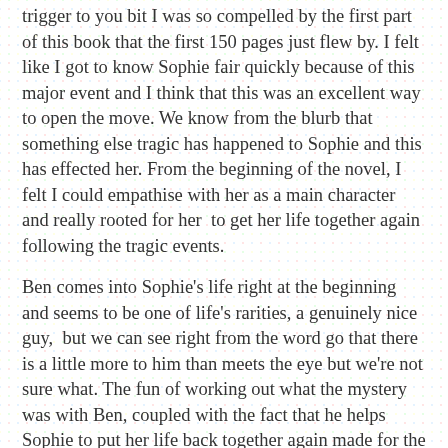trigger to you bit I was so compelled by the first part of this book that the first 150 pages just flew by. I felt like I got to know Sophie fair quickly because of this major event and I think that this was an excellent way to open the move. We know from the blurb that something else tragic has happened to Sophie and this has effected her. From the beginning of the novel, I felt I could empathise with her as a main character and really rooted for her  to get her life together again following the tragic events.
Ben comes into Sophie's life right at the beginning and seems to be one of life's rarities, a genuinely nice guy,  but we can see right from the word go that there is a little more to him than meets the eye but we're not sure what. The fun of working out what the mystery was with Ben, coupled with the fact that he helps Sophie to put her life back together again made for the middle of the book to be truly enchanting and just as compelling as the beginning of the book. I loved Ben as a character and really hope that some of his wonderful optimism rubbed off on me from reading this.
The end of the book is really difficult to talk about without giving away any spoilers. Needless to say it is just as